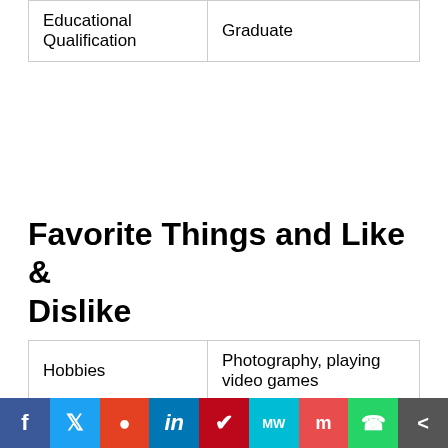| Educational
Qualification | Graduate |
Favorite Things and Like & Dislike
| Hobbies | Photography, playing video games |
| Favorite Food | Miso-glazed sea bass, crab legs |
| Favorite Pet | Dog named ‘Zo’ |
| Favorite |  |
f  Twitter  reddit  in  Pinterest  MW  mix  WhatsApp  share